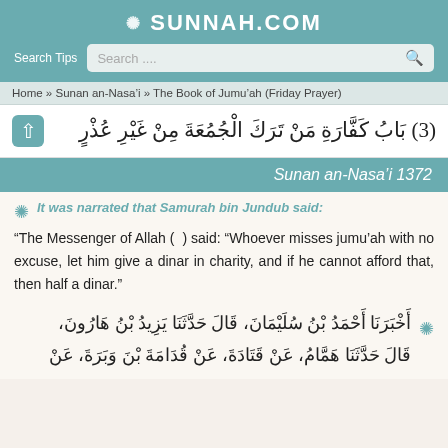✿ SUNNAH.COM
Search Tips   Search....
Home » Sunan an-Nasa'i » The Book of Jumu'ah (Friday Prayer)
(3) بَابُ كَفَّارَةِ مَنْ تَرَكَ الْجُمُعَةَ مِنْ غَيْرِ عُذْرٍ
Sunan an-Nasa'i 1372
It was narrated that Samurah bin Jundub said:
"The Messenger of Allah (  ) said: "Whoever misses jumu'ah with no excuse, let him give a dinar in charity, and if he cannot afford that, then half a dinar."
أَخْبَرَنَا أَحْمَدُ بْنُ سُلَيْمَانَ، قَالَ حَدَّثَنَا يَزِيدُ بْنُ هَارُونَ، قَالَ حَدَّثَنَا هَمَّامُ، عَنْ قَتَادَةَ، عَنْ قُدَامَةَ بْنَ وَبَرَةَ، عَنْ